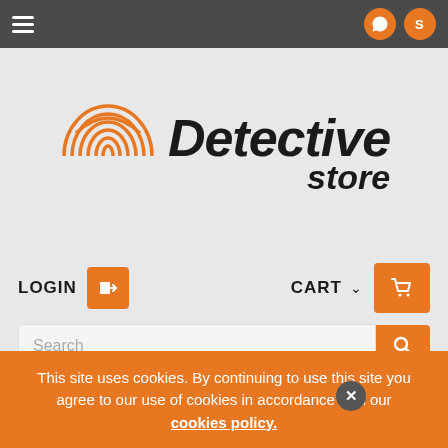Navigation bar with hamburger menu, WhatsApp and Skype icons
[Figure (logo): Detective Store logo with orange fingerprint icon and bold italic text 'Detective store']
LOGIN
CART
Search
Cameras & bugs detection >> Counter
This site uses cookies. By continuing to use this site you agree to our use of cookies in accordance with our cookies policy.